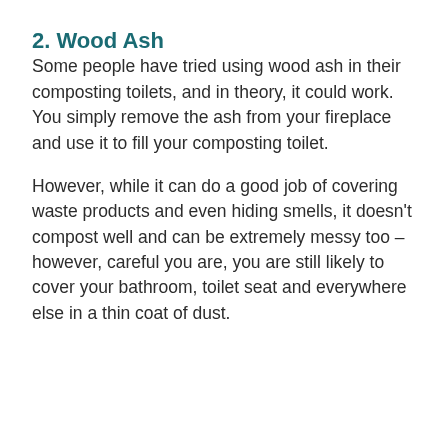2. Wood Ash
Some people have tried using wood ash in their composting toilets, and in theory, it could work. You simply remove the ash from your fireplace and use it to fill your composting toilet.
However, while it can do a good job of covering waste products and even hiding smells, it doesn’t compost well and can be extremely messy too – however, careful you are, you are still likely to cover your bathroom, toilet seat and everywhere else in a thin coat of dust.